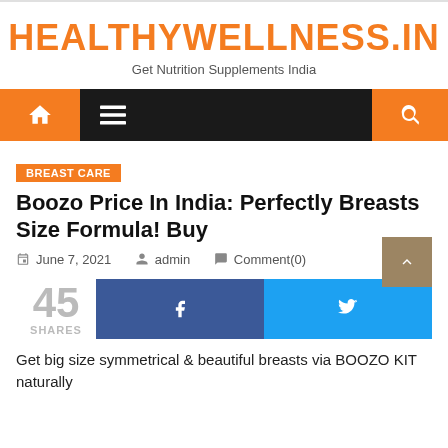HEALTHYWELLNESS.IN
Get Nutrition Supplements India
BREAST CARE
Boozo Price In India: Perfectly Breasts Size Formula! Buy
June 7, 2021  admin  Comment(0)
45 SHARES
Get big size symmetrical & beautiful breasts via BOOZO KIT naturally